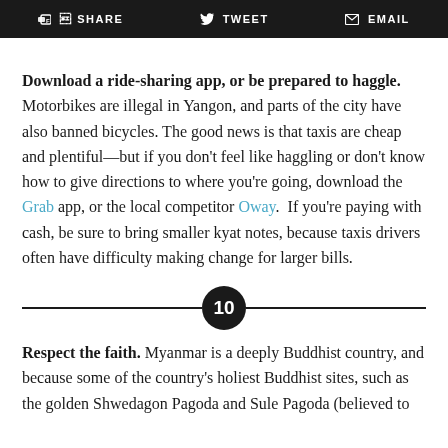SHARE  TWEET  EMAIL
Download a ride-sharing app, or be prepared to haggle. Motorbikes are illegal in Yangon, and parts of the city have also banned bicycles. The good news is that taxis are cheap and plentiful—but if you don't feel like haggling or don't know how to give directions to where you're going, download the Grab app, or the local competitor Oway.  If you're paying with cash, be sure to bring smaller kyat notes, because taxis drivers often have difficulty making change for larger bills.
10
Respect the faith. Myanmar is a deeply Buddhist country, and because some of the country's holiest Buddhist sites, such as the golden Shwedagon Pagoda and Sule Pagoda (believed to